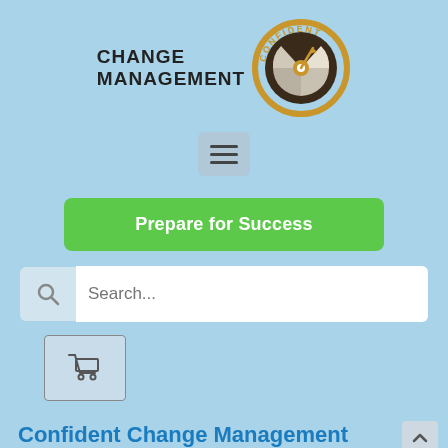[Figure (logo): Confident Change Management logo: circular target/compass icon with gold lettering 'CONFIDENT' around the top arc, and bold text 'CHANGE MANAGEMENT' to the left of the icon]
[Figure (other): Hamburger menu button (three horizontal lines) in a rounded gray-blue rectangle]
Prepare for Success
[Figure (other): Search bar with magnifying glass icon on left and white input field reading 'Search...']
[Figure (other): Shopping cart icon in a bordered box]
Confident Change Management Online Course (1 Year Membership)
The most comprehensive online change management